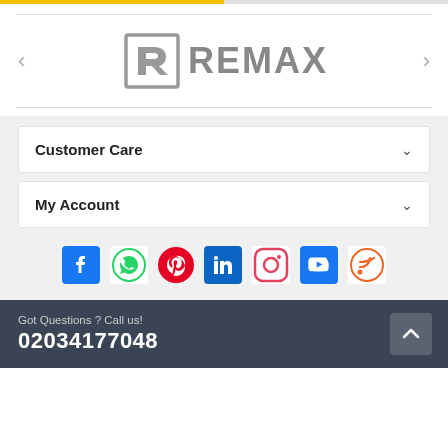[Figure (logo): Remax brand logo with stylized R icon and REMAX text in gray]
Customer Care
My Account
[Figure (infographic): Social media icons row: Facebook, WhatsApp, Pinterest, LinkedIn, Instagram, YouTube, RSS]
Got Questions ? Call us!
02034177048